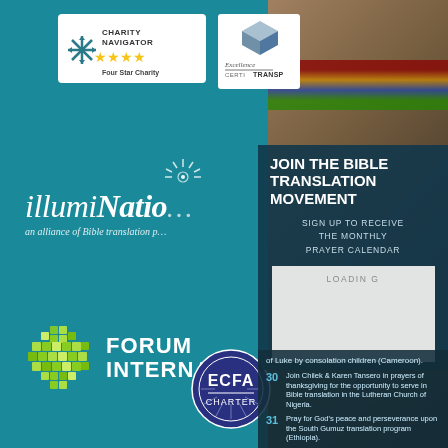[Figure (logo): Charity Navigator Four Star Charity badge with snowflake logo and gold stars]
[Figure (logo): Excellence in Giving - Certified in Transparency badge (partially visible)]
[Figure (logo): illumiNations logo with starburst graphic - an alliance of Bible translation partners]
[Figure (logo): Forum International logo with green globe made of puzzle pieces]
JOIN THE BIBLE TRANSLATION MOVEMENT
SIGN UP TO RECEIVE THE MONTHLY PRAYER CALENDAR
LOADING
of Luke by consolation children (Cameroon).
30 Join Chilek & Karen Tansero in prayers of thanksgiving for the opportunity to serve in Bible translation in the Lutheran Church of Nigeria.
31 Pray for God's peace and perseverance upon the South Gumuz translation program (Ethiopia).
[Figure (logo): ECFA Charter membership badge - circular seal]